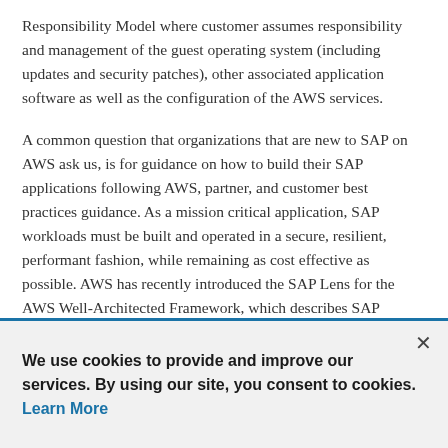Responsibility Model where customer assumes responsibility and management of the guest operating system (including updates and security patches), other associated application software as well as the configuration of the AWS services.
A common question that organizations that are new to SAP on AWS ask us, is for guidance on how to build their SAP applications following AWS, partner, and customer best practices guidance. As a mission critical application, SAP workloads must be built and operated in a secure, resilient, performant fashion, while remaining as cost effective as possible. AWS has recently introduced the SAP Lens for the AWS Well-Architected Framework, which describes SAP specific best practices on AWS, across five of the six AWS Well-Architected pillars. One particular area of interest we frequently see, is on security controls for network communications, in and out of the
We use cookies to provide and improve our services. By using our site, you consent to cookies. Learn More